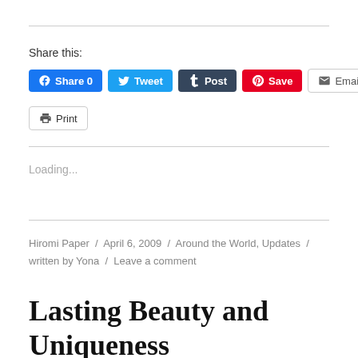Share this:
Share 0  Tweet  Post  Save  Email  Print
Loading...
Hiromi Paper / April 6, 2009 / Around the World, Updates / written by Yona / Leave a comment
Lasting Beauty and Uniqueness